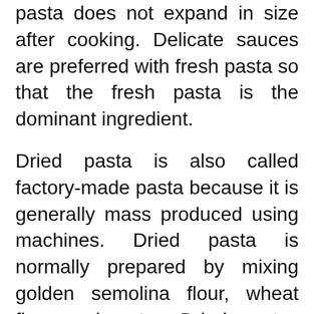pasta does not expand in size after cooking. Delicate sauces are preferred with fresh pasta so that the fresh pasta is the dominant ingredient.
Dried pasta is also called factory-made pasta because it is generally mass produced using machines. Dried pasta is normally prepared by mixing golden semolina flour, wheat flour and water. Dried pastas are best served in hearty dishes like ragu sauces and casseroles. Dried pastas are better for storage, since they have a longer shelf life compared to the fresh pasta.
Dried or Fresh Pasta enter into the wonderful world of pasta shapes. The following long list of various shapes of pastas is a living